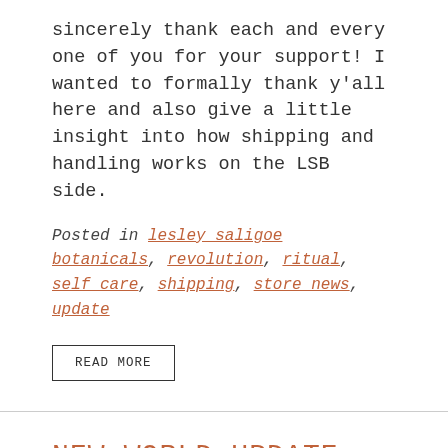sincerely thank each and every one of you for your support! I wanted to formally thank y'all here and also give a little insight into how shipping and handling works on the LSB side.
Posted in lesley saligoe botanicals, revolution, ritual, self care, shipping, store news, update
READ MORE
NEW WORLD UPDATE.
by Lesley Saligoe   March 30, 2020